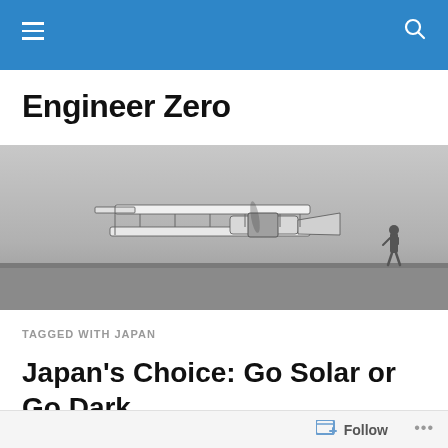Engineer Zero — navigation header with hamburger menu and search icon
Engineer Zero
[Figure (photo): Historical black and white photograph of the Wright Brothers' first airplane flight at Kitty Hawk. A biplane is shown in flight low to the ground while a man stands to the right watching.]
TAGGED WITH JAPAN
Japan's Choice: Go Solar or Go Dark
Follow  ...